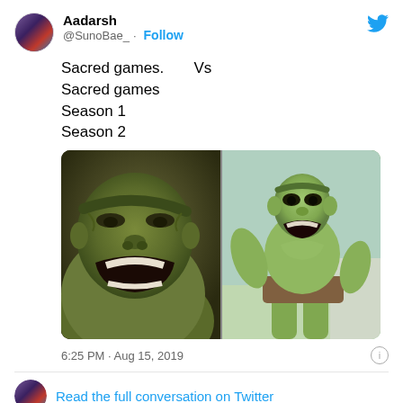Aadarsh @SunoBae_ · Follow
Sacred games.        Vs
Sacred games
Season 1
Season 2
[Figure (photo): Split image showing two versions of the Hulk side by side. Left: dark, muscular CGI Hulk from modern Marvel films roaring angrily. Right: lighter green, more slender live-action Hulk from older TV series also appearing to growl.]
6:25 PM · Aug 15, 2019
Read the full conversation on Twitter
9    Reply    Copy link